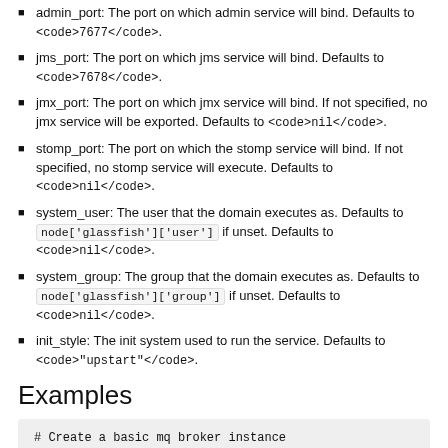admin_port: The port on which admin service will bind. Defaults to <code>7677</code>.
jms_port: The port on which jms service will bind. Defaults to <code>7678</code>.
jmx_port: The port on which jmx service will bind. If not specified, no jmx service will be exported. Defaults to <code>nil</code>.
stomp_port: The port on which the stomp service will bind. If not specified, no stomp service will execute. Defaults to <code>nil</code>.
system_user: The user that the domain executes as. Defaults to node['glassfish']['user'] if unset. Defaults to <code>nil</code>.
system_group: The group that the domain executes as. Defaults to node['glassfish']['group'] if unset. Defaults to <code>nil</code>.
init_style: The init system used to run the service. Defaults to <code>"upstart"</code>.
Examples
# Create a basic mq broker instance
glassfish_mq "MessageBroker" do
  port 80